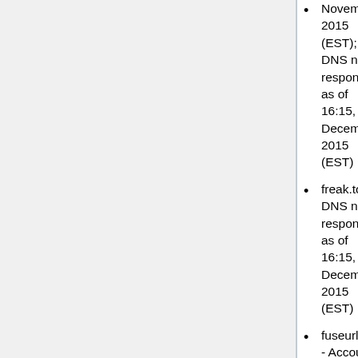November 2015 (EST); DNS not responding as of 16:15, 12 December 2015 (EST)
freak.to - DNS not responding as of 16:15, 12 December 2015 (EST)
fuseurl.com - Account Suspended as of 00:29, 6 October 2016 (EDT)
fuzzy.to - DNS not responding as of 16:15, 12 December 2015 (EST)
fwd4.me - redirects to a site about traffic cameras as of 22:00, 21 November 2015 (EST)
fwib.net - parking page as of 01:22, 17 February 2016 (EST)
g.ro.lt - DNS not responding as of 16:15, 12 December 2015 (EST)
gca.sh - Dead website, broken links as of 17 Augustus 2017 (CEST). According to archive.org: it was working on 2016 April 26, but not on